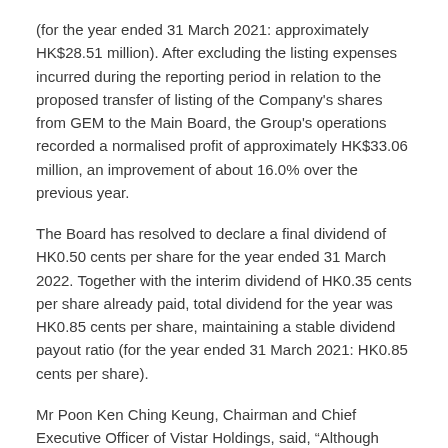(for the year ended 31 March 2021: approximately HK$28.51 million). After excluding the listing expenses incurred during the reporting period in relation to the proposed transfer of listing of the Company's shares from GEM to the Main Board, the Group's operations recorded a normalised profit of approximately HK$33.06 million, an improvement of about 16.0% over the previous year.
The Board has resolved to declare a final dividend of HK0.50 cents per share for the year ended 31 March 2022. Together with the interim dividend of HK0.35 cents per share already paid, total dividend for the year was HK0.85 cents per share, maintaining a stable dividend payout ratio (for the year ended 31 March 2021: HK0.85 cents per share).
Mr Poon Ken Ching Keung, Chairman and Chief Executive Officer of Vistar Holdings, said, “Although facing the ongoing pandemic, global supply shortage of resources, inflation and an unstable market environment, the Group has drawn on its leading engineering technology and extensive project management experience to provide E&M engineering services to the Three Runway System (3RS) developments at the Hong Kong International Airport surrounding supportive infrastructure facilities. More Shui Hau MTR…